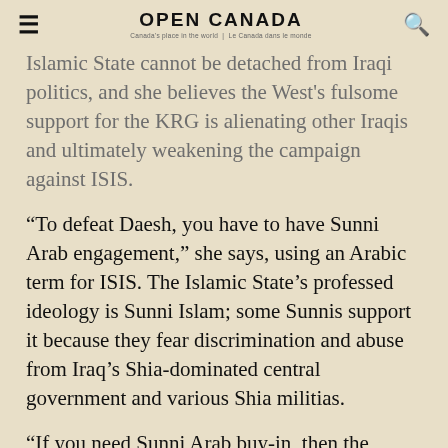OPEN CANADA — Canada's place in the world | Le Canada dans le monde
Islamic State cannot be detached from Iraqi politics, and she believes the West's fulsome support for the KRG is alienating other Iraqis and ultimately weakening the campaign against ISIS.
“To defeat Daesh, you have to have Sunni Arab engagement,” she says, using an Arabic term for ISIS. The Islamic State’s professed ideology is Sunni Islam; some Sunnis support it because they fear discrimination and abuse from Iraq’s Shia-dominated central government and various Shia militias.
“If you need Sunni Arab buy-in, then the policies that we’re doing with the Kurds are